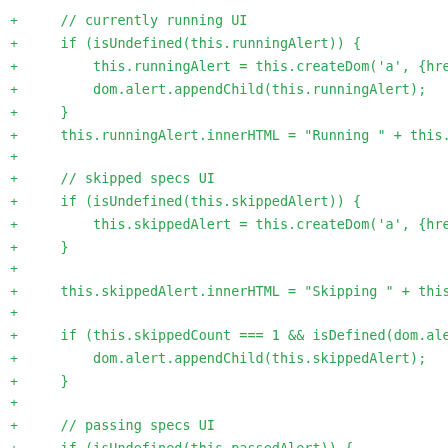+ // currently running UI
+ if (isUndefined(this.runningAlert)) {
+     this.runningAlert = this.createDom('a', {href:
+     dom.alert.appendChild(this.runningAlert);
+   }
+     this.runningAlert.innerHTML = "Running " + this.c
+
+     // skipped specs UI
+     if (isUndefined(this.skippedAlert)) {
+         this.skippedAlert = this.createDom('a', {href:
+     }
+
+     this.skippedAlert.innerHTML = "Skipping " + this.
+
+     if (this.skippedCount === 1 && isDefined(dom.aler
+         dom.alert.appendChild(this.skippedAlert);
+     }
+
+     // passing specs UI
+     if (isUndefined(this.passedAlert)) {
+         this.passedAlert = this.createDom('span', {hre
+     }